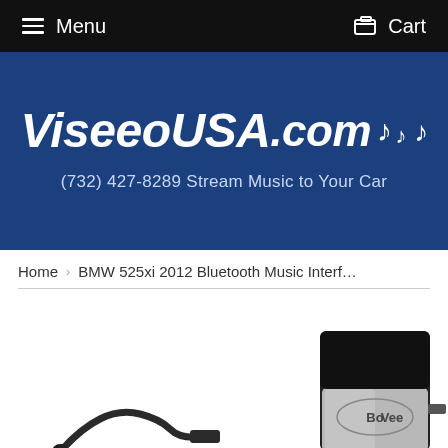Menu   Cart
[Figure (logo): ViseeoUSA.com logo with musical notes on dark blue banner background, with phone number (732) 427-8289 Stream Music to Your Car]
Home  ›  BMW 525xi 2012 Bluetooth Music Interf…
[Figure (photo): BoVee bluetooth music interface device - black and silver rectangular device with cable attached, shown on white background]